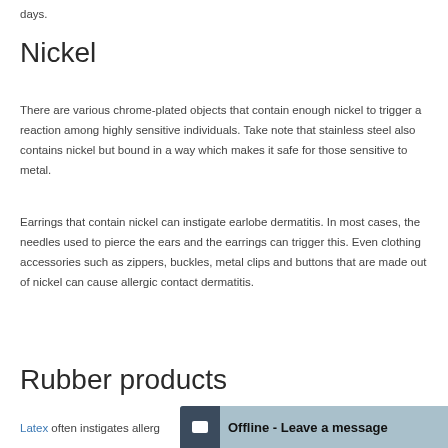days.
Nickel
There are various chrome-plated objects that contain enough nickel to trigger a reaction among highly sensitive individuals. Take note that stainless steel also contains nickel but bound in a way which makes it safe for those sensitive to metal.
Earrings that contain nickel can instigate earlobe dermatitis. In most cases, the needles used to pierce the ears and the earrings can trigger this. Even clothing accessories such as zippers, buckles, metal clips and buttons that are made out of nickel can cause allergic contact dermatitis.
Rubber products
Latex often instigates allerg…